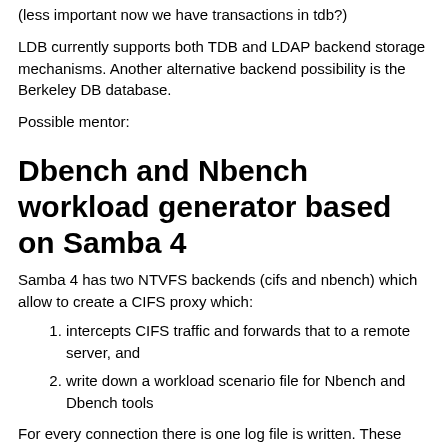(less important now we have transactions in tdb?)
LDB currently supports both TDB and LDAP backend storage mechanisms. Another alternative backend possibility is the Berkeley DB database.
Possible mentor:
Dbench and Nbench workload generator based on Samba 4
Samba 4 has two NTVFS backends (cifs and nbench) which allow to create a CIFS proxy which:
intercepts CIFS traffic and forwards that to a remote server, and
write down a workload scenario file for Nbench and Dbench tools
For every connection there is one log file is written. These logs